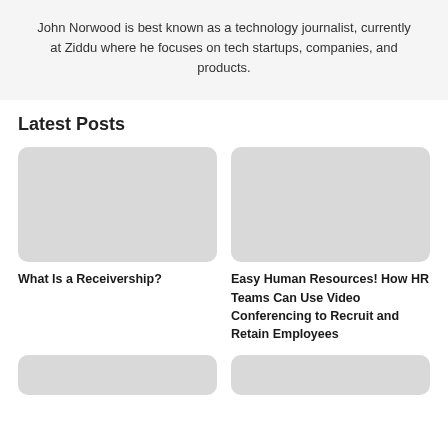John Norwood is best known as a technology journalist, currently at Ziddu where he focuses on tech startups, companies, and products.
Latest Posts
[Figure (photo): Placeholder image for 'What Is a Receivership?' post (gray rectangle with rounded corners)]
What Is a Receivership?
[Figure (photo): Placeholder image for 'Easy Human Resources! How HR Teams Can Use Video Conferencing to Recruit and Retain Employees' post (gray rectangle with rounded corners)]
Easy Human Resources! How HR Teams Can Use Video Conferencing to Recruit and Retain Employees
[Figure (photo): Placeholder image bottom left (gray rectangle with rounded corners, partially visible)]
[Figure (photo): Placeholder image bottom right (gray rectangle with rounded corners, partially visible)]